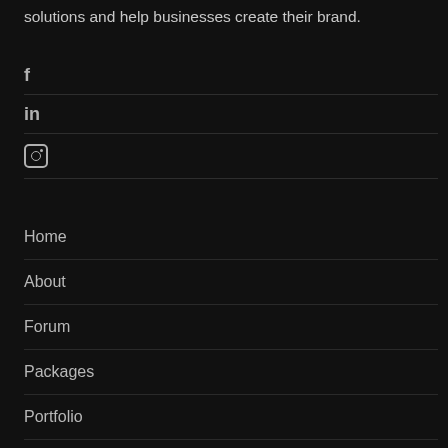solutions and help businesses create their brand.
f (Facebook icon)
in (LinkedIn icon)
(Instagram icon)
Home
About
Forum
Packages
Portfolio
Career
Blog
Contact